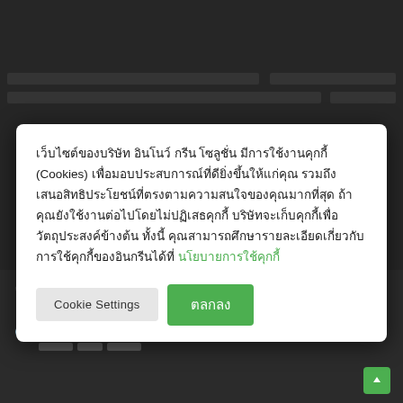[Figure (screenshot): Dark website background with redacted/blurred navigation bars at top]
เว็บไซต์ของบริษัท อินโนว์ กรีน โซลูชั่น มีการใช้งานคุกกี้ (Cookies) เพื่อมอบประสบการณ์ที่ดียิ่งขึ้นให้แก่คุณ รวมถึงเสนอสิทธิประโยชน์ที่ตรงตามความสนใจของคุณมากที่สุด ถ้าคุณยังใช้งานต่อไปโดยไม่ปฏิเสธคุกกี้ บริษัทจะเก็บคุกกี้เพื่อวัตถุประสงค์ข้างต้น ทั้งนี้ คุณสามารถศึกษารายละเอียดเกี่ยวกับการใช้คุกกี้ของอินกรีนได้ที่ นโยบายการใช้คุกกี้
Cookie Settings
ตลกลง
09-6936-4628
08-7805-7691
8.30 น. - 18.00 น.